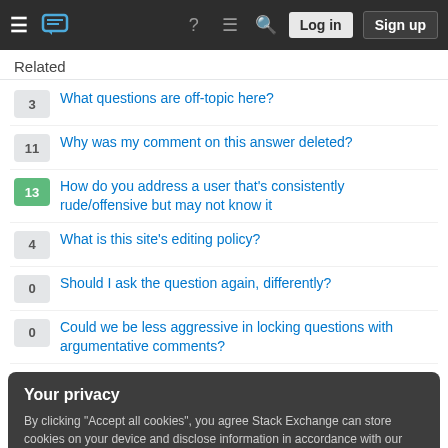Stack Exchange navigation bar with hamburger menu, logo, icons, Log in and Sign up buttons
Related
3 — What questions are off-topic here?
11 — Why was my comment on this answer deleted?
13 — How do you address a user that's consistently rude/offensive but may not know it
4 — What is this site's editing policy?
0 — Should I ask the question again, differently?
0 — Could we be less aggressive in locking questions with argumentative comments?
Your privacy
By clicking "Accept all cookies", you agree Stack Exchange can store cookies on your device and disclose information in accordance with our Cookie Policy.
Accept all cookies | Customize settings
How feasible is using Titanium for weapons?